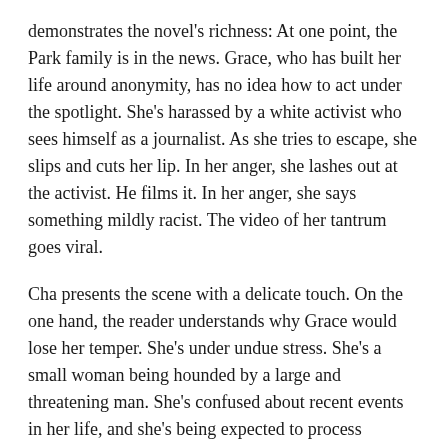demonstrates the novel's richness: At one point, the Park family is in the news. Grace, who has built her life around anonymity, has no idea how to act under the spotlight. She's harassed by a white activist who sees himself as a journalist. As she tries to escape, she slips and cuts her lip. In her anger, she lashes out at the activist. He films it. In her anger, she says something mildly racist. The video of her tantrum goes viral.
Cha presents the scene with a delicate touch. On the one hand, the reader understands why Grace would lose her temper. She's under undue stress. She's a small woman being hounded by a large and threatening man. She's confused about recent events in her life, and she's being expected to process information way too quickly. As a reader, we feel for her. At the same time, stress and confusion don't make racist outbursts any less racist. Grace masochistically reads all of the social media reactions to her tantrum and:
For the first time in her twenty-seven years, Grace felt